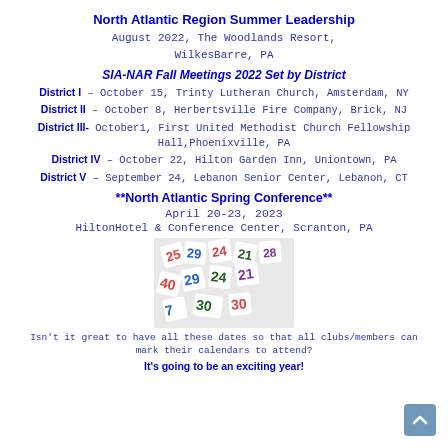North Atlantic Region Summer Leadership
August 2022, The Woodlands Resort,
WilkesBarre, PA
SIA-NAR Fall Meetings 2022 Set by District
District I – October 15, Trinty Lutheran Church, Amsterdam, NY
District II – October 8, Herbertsville Fire Company, Brick, NJ
District III- October1, First United Methodist Church Fellowship Hall,Phoenixville, PA
District IV – October 22, Hilton Garden Inn, Uniontown, PA
District V – September 24, Lebanon Senior Center, Lebanon, CT
**North Atlantic Spring Conference**
April 20-23, 2023
HiltonHotel & Conference Center, Scranton, PA
[Figure (photo): Photo of colorful calendar number cutouts scattered on a surface]
Isn't it great to have all these dates so that all clubs/members can mark their calendars to attend?
It's going to be an exciting year!